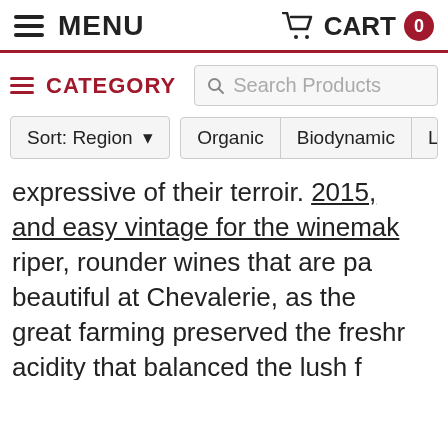MENU   CART 0
≡ CATEGORY   Search Products
Sort: Region ▾   Organic   Biodynamic   L
expressive of their terroir. 2015, and easy vintage for the winemakers, riper, rounder wines that are pa beautiful at Chevalerie, as the great farming preserved the freshness acidity that balanced the lush f personal preference leans toward however, as I love the subtlety of